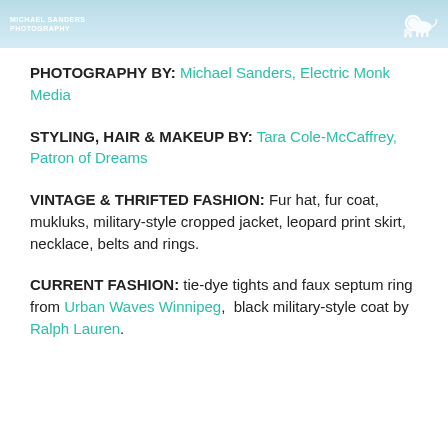[Figure (photo): Top banner image with light blue/teal water or sky background. On the left is a white text logo reading 'MICHAEL SANDERS PHOTOGRAPHY'. On the right is a white lion/carriage logo icon.]
PHOTOGRAPHY BY: Michael Sanders, Electric Monk Media
STYLING, HAIR & MAKEUP BY: Tara Cole-McCaffrey, Patron of Dreams
VINTAGE & THRIFTED FASHION: Fur hat, fur coat, mukluks, military-style cropped jacket, leopard print skirt, necklace, belts and rings.
CURRENT FASHION: tie-dye tights and faux septum ring from Urban Waves Winnipeg,  black military-style coat by Ralph Lauren.